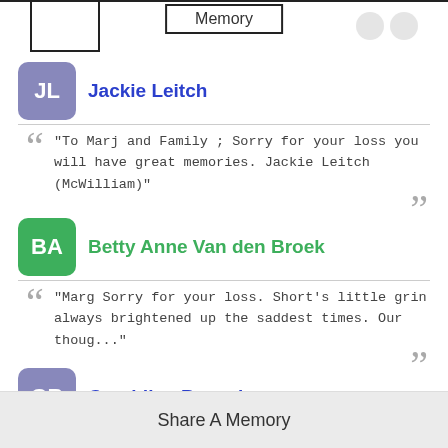[Figure (other): Top navigation bar with 'Memory' label centered, left bracket box, and two circular icons on the right]
Jackie Leitch
"To Marj and Family ; Sorry for your loss you will have great memories. Jackie Leitch (McWilliam)"
Betty Anne Van den Broek
"Marg Sorry for your loss. Short's little grin always brightened up the saddest times. Our thoug..."
Geraldine Beauchamp
Share A Memory